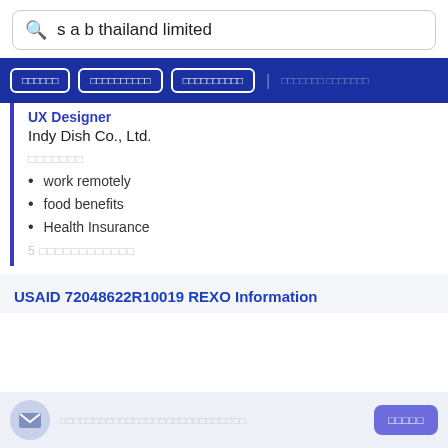s a b thailand limited
[Thai navigation buttons]
UX Designer
Indy Dish Co., Ltd.
[Thai label - สวัสดิการ]
work remotely
food benefits
Health Insurance
5 [Thai: วันที่ผ่านมา]
USAID 72048622R10019 REXO Information
[Thai notification text]